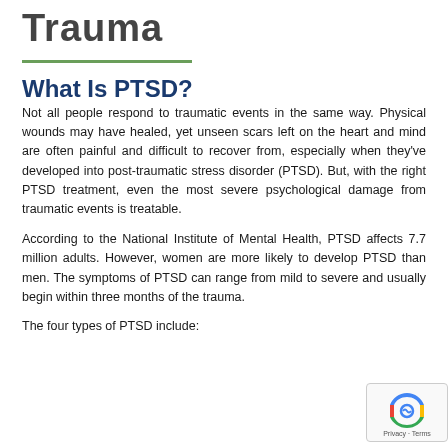Trauma
What Is PTSD?
Not all people respond to traumatic events in the same way. Physical wounds may have healed, yet unseen scars left on the heart and mind are often painful and difficult to recover from, especially when they’ve developed into post-traumatic stress disorder (PTSD). But, with the right PTSD treatment, even the most severe psychological damage from traumatic events is treatable.
According to the National Institute of Mental Health, PTSD affects 7.7 million adults. However, women are more likely to develop PTSD than men. The symptoms of PTSD can range from mild to severe and usually begin within three months of the trauma.
The four types of PTSD include: